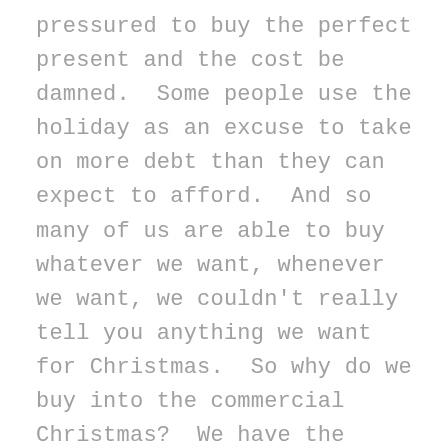pressured to buy the perfect present and the cost be damned.  Some people use the holiday as an excuse to take on more debt than they can expect to afford.  And so many of us are able to buy whatever we want, whenever we want, we couldn't really tell you anything we want for Christmas.  So why do we buy into the commercial Christmas?  We have the ability to change it, if we want to, but we don't, because we have this idea that all the good stuff about Christmas is boxed and wrapped and tied with ribbons under an over-decorated Christmas tree.  I'm not criticizing people, because I am much the same.   I find a longing  for the Christmas I never had  – with people that I loved, and happy times (no arguments).  As an only child, and only grandchild  for so many years and a birthday right before Christmas, I remember being totally overwhelmed with how many gifts I